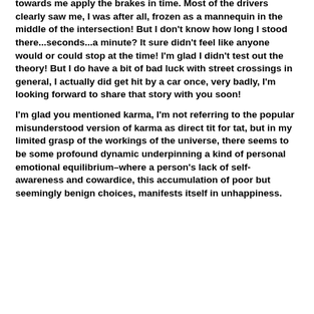towards me apply the brakes in time. Most of the drivers clearly saw me, I was after all, frozen as a mannequin in the middle of the intersection! But I don't know how long I stood there...seconds...a minute? It sure didn't feel like anyone would or could stop at the time! I'm glad I didn't test out the theory! But I do have a bit of bad luck with street crossings in general, I actually did get hit by a car once, very badly, I'm looking forward to share that story with you soon!
I'm glad you mentioned karma, I'm not referring to the popular misunderstood version of karma as direct tit for tat, but in my limited grasp of the workings of the universe, there seems to be some profound dynamic underpinning a kind of personal emotional equilibrium–where a person's lack of self-awareness and cowardice, this accumulation of poor but seemingly benign choices, manifests itself in unhappiness.